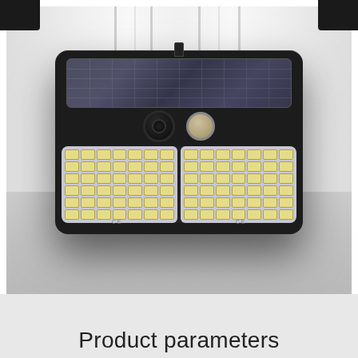[Figure (photo): A black solar-powered outdoor LED security light with motion sensor and camera sensor, mounted against a light curtain background. The device has a solar panel on top, two sensors (camera and PIR motion detector) in the middle, and two large LED panels at the bottom with multiple LED dots arranged in a grid pattern.]
Product parameters